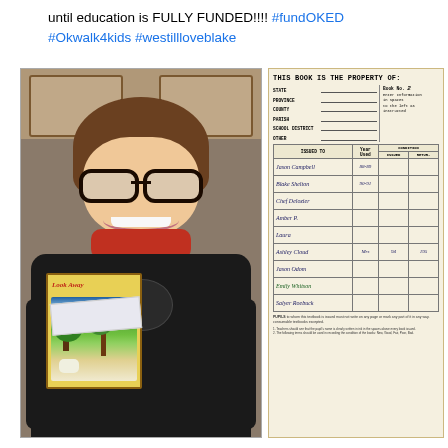until education is FULLY FUNDED!!!! #fundOKED #Okwalk4kids #westillloveblake
[Figure (photo): A smiling girl with glasses holding a book titled 'Look Away' next to a worn school textbook property card]
| ISSUED TO | Year Used | ISSUED | RETUR(N) |
| --- | --- | --- | --- |
| Jason Campbell | 88-89 |  |  |
| Blake Shelton | 90-91 |  |  |
| Chef Delozier |  |  |  |
| Amber P. |  |  |  |
| Laura |  |  |  |
| Ashley Cloud | Mrs | 94 | 195 |
| Jason Odom |  |  |  |
| Emily Whitson |  |  |  |
| Salyer Roebuck |  |  |  |